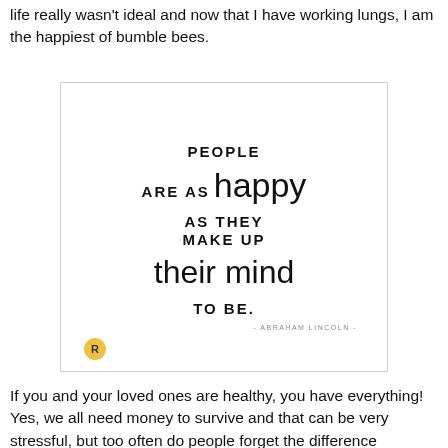life really wasn't ideal and now that I have working lungs, I am the happiest of bumble bees.
[Figure (illustration): Inspirational quote card with mixed typography (bold uppercase and cursive script): 'PEOPLE ARE AS happy AS THEY MAKE UP their mind TO BE.' attributed to - ABRAHAM LINCOLN - with a small gold logo in bottom left corner.]
If you and your loved ones are healthy, you have everything! Yes, we all need money to survive and that can be very stressful, but too often do people forget the difference between NEED and WANT. If you have everything you